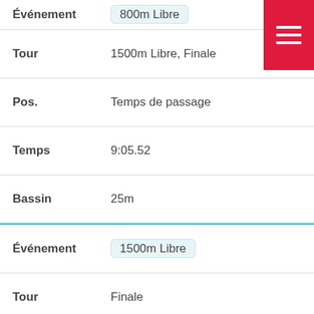| Label | Value |
| --- | --- |
| Événement | 800m Libre |
| Tour | 1500m Libre, Finale |
| Pos. | Temps de passage |
| Temps | 9:05.52 |
| Bassin | 25m |
| Événement | 1500m Libre |
| Tour | Finale |
| Pos. | 10 |
| Temps | 17:15.98 |
| Bassin | 25 |